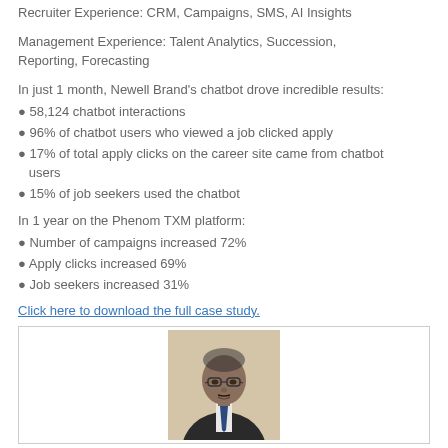Recruiter Experience: CRM, Campaigns, SMS, AI Insights
Management Experience: Talent Analytics, Succession, Reporting, Forecasting
In just 1 month, Newell Brand's chatbot drove incredible results:
58,124 chatbot interactions
96% of chatbot users who viewed a job clicked apply
17% of total apply clicks on the career site came from chatbot users
15% of job seekers used the chatbot
In 1 year on the Phenom TXM platform:
Number of campaigns increased 72%
Apply clicks increased 69%
Job seekers increased 31%
Click here to download the full case study.
[Figure (photo): Portrait photo of a man in a dark suit with a tie, wearing glasses, against a light background, shown from chest up.]